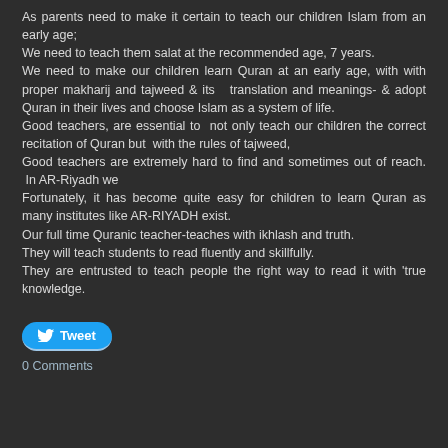As parents need to make it certain to teach our children Islam from an early age; We need to teach them salat at the recommended age, 7 years. We need to make our children learn Quran at an early age, with with proper makharij and tajweed & its translation and meanings- & adopt Quran in their lives and choose Islam as a system of life. Good teachers, are essential to not only teach our children the correct recitation of Quran but with the rules of tajweed, Good teachers are extremely hard to find and sometimes out of reach. In AR-Riyadh we Fortunately, it has become quite easy for children to learn Quran as many institutes like AR-RIYADH exist. Our full time Quranic teacher-teaches with ikhlash and truth. They will teach students to read fluently and skillfully. They are entrusted to teach people the right way to read it with 'true knowledge.
Tweet
0 Comments